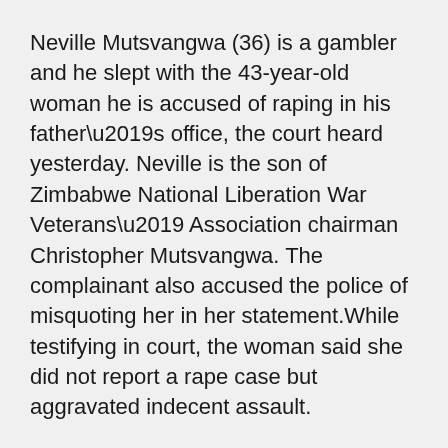Neville Mutsvangwa (36) is a gambler and he slept with the 43-year-old woman he is accused of raping in his father’s office, the court heard yesterday. Neville is the son of Zimbabwe National Liberation War Veterans’ Association chairman Christopher Mutsvangwa. The complainant also accused the police of misquoting her in her statement.While testifying in court, the woman said she did not report a rape case but aggravated indecent assault.
“If it was an ordinary intercourse, I would not have reported the matter but he made me suck his dirty manhood the first time,” she said.